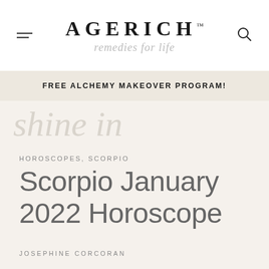AGERICH™ remedies for life
FREE ALCHEMY MAKEOVER PROGRAM!
[Figure (illustration): Decorative script watermark text reading 'shine in' in light grey italic script]
HOROSCOPES, SCORPIO
Scorpio January 2022 Horoscope
JOSEPHINE CORCORAN